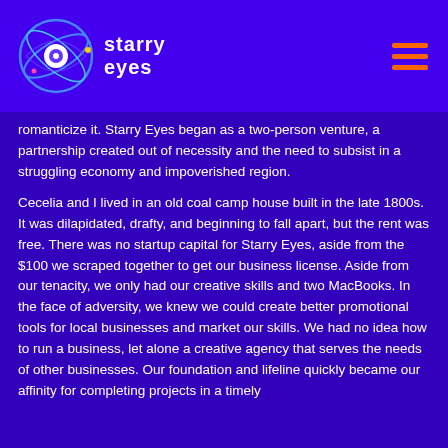starry eyes
romanticize it. Starry Eyes began as a two-person venture, a partnership created out of necessity and the need to subsist in a struggling economy and impoverished region.
Cecelia and I lived in an old coal camp house built in the late 1800s. It was dilapidated, drafty, and beginning to fall apart, but the rent was free. There was no startup capital for Starry Eyes, aside from the $100 we scraped together to get our business license. Aside from our tenacity, we only had our creative skills and two MacBooks. In the face of adversity, we knew we could create better promotional tools for local businesses and market our skills. We had no idea how to run a business, let alone a creative agency that serves the needs of other businesses. Our foundation and lifeline quickly became our affinity for completing projects in a timely